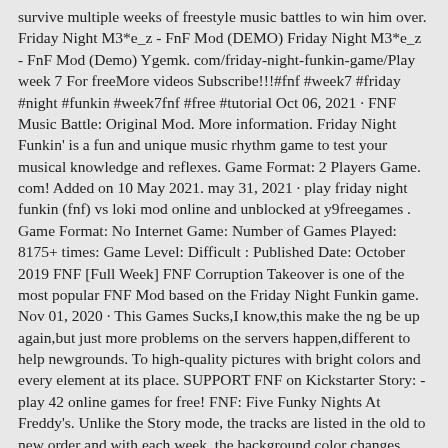survive multiple weeks of freestyle music battles to win him over. Friday Night M3*e_z - FnF Mod (DEMO) Friday Night M3*e_z - FnF Mod (Demo) Ygemk. com/friday-night-funkin-game/Play week 7 For freeMore videos Subscribe!!!#fnf #week7 #friday #night #funkin #week7fnf #free #tutorial Oct 06, 2021 · FNF Music Battle: Original Mod. More information. Friday Night Funkin' is a fun and unique music rhythm game to test your musical knowledge and reflexes. Game Format: 2 Players Game. com! Added on 10 May 2021. may 31, 2021 · play friday night funkin (fnf) vs loki mod online and unblocked at y9freegames . Game Format: No Internet Game: Number of Games Played: 8175+ times: Game Level: Difficult : Published Date: October 2019 FNF [Full Week] FNF Corruption Takeover is one of the most popular FNF Mod based on the Friday Night Funkin game. Nov 01, 2020 · This Games Sucks,I know,this make the ng be up again,but just more problems on the servers happen,different to help newgrounds. To high-quality pictures with bright colors and every element at its place. SUPPORT FNF on Kickstarter Story: - play 42 online games for free! FNF: Five Funky Nights At Freddy's. Unlike the Story mode, the tracks are listed in the old to new order and with each week, the background color changes. Game Description: Friday Night Funkin Online Vs Hank Challenge Funkipedia Mods Wiki Fandom Fnf Hank Challenge One of many Rhythm Games to play online on your web browser for free at KBH GamesTagged as Arcade Games Dance Games